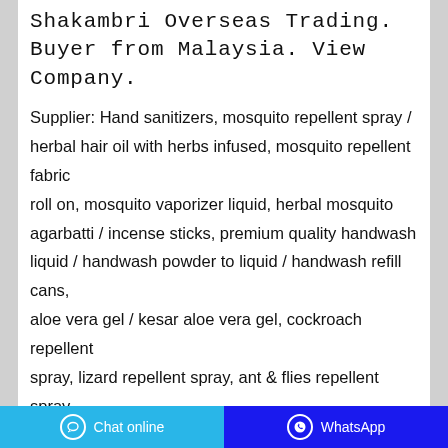Shakambri Overseas Trading. Buyer from Malaysia. View Company.
Supplier: Hand sanitizers, mosquito repellent spray / herbal hair oil with herbs infused, mosquito repellent fabric roll on, mosquito vaporizer liquid, herbal mosquito agarbatti / incense sticks, premium quality handwash liquid / handwash powder to liquid / handwash refill cans, aloe vera gel / kesar aloe vera gel, cockroach repellent spray, lizard repellent spray, ant & flies repellent spray ...
Contact the manufacturer
WhatsApp
[Figure (photo): Product image showing a green packaged product (herbal/mosquito repellent) on a light gray background]
Chat online | WhatsApp